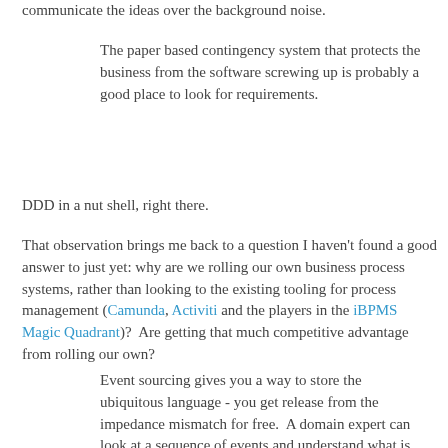communicate the ideas over the background noise.
The paper based contingency system that protects the business from the software screwing up is probably a good place to look for requirements.
DDD in a nut shell, right there.
That observation brings me back to a question I haven't found a good answer to just yet: why are we rolling our own business process systems, rather than looking to the existing tooling for process management (Camunda, Activiti and the players in the iBPMS Magic Quadrant)?  Are getting that much competitive advantage from rolling our own?
Event sourcing gives you a way to store the ubiquitous language - you get release from the impedance mismatch for free.  A domain expert can look at a sequence of events and understand what is going on.